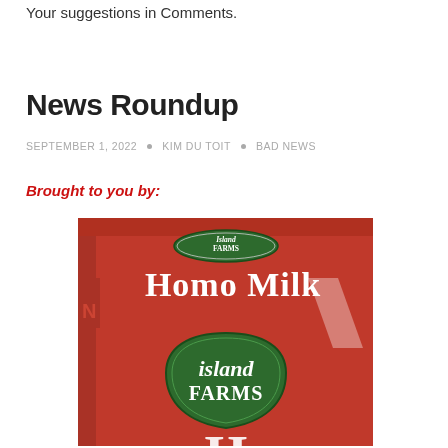Your suggestions in Comments.
News Roundup
SEPTEMBER 1, 2022 • KIM DU TOIT • BAD NEWS
Brought to you by:
[Figure (photo): A red Island Farms milk carton labeled 'Homo Milk' with the Island Farms green logo badge visible on the front.]